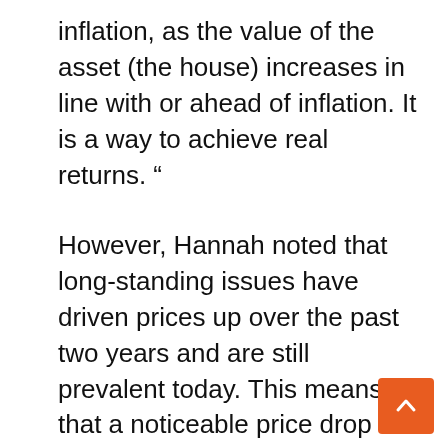inflation, as the value of the asset (the house) increases in line with or ahead of inflation. It is a way to achieve real returns. ”
However, Hannah noted that long-standing issues have driven prices up over the past two years and are still prevalent today. This means that a noticeable price drop for buyers was unlikely.
He said: “The problem we have is the rate of demand and supply.
“If builders build and they oversupply, that will dampen the increase and appreciation in asset values. But, if the number of people wanting to